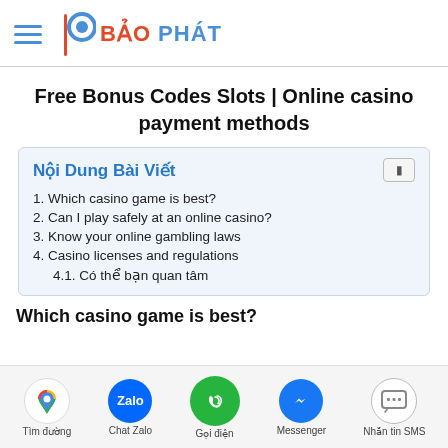BẢO PHÁT
Free Bonus Codes Slots | Online casino payment methods
Nội Dung Bài Viết
1. Which casino game is best?
2. Can I play safely at an online casino?
3. Know your online gambling laws
4. Casino licenses and regulations
4.1. Có thể bạn quan tâm
Which casino game is best?
Tìm đường | Chat Zalo | Gọi điện | Messenger | Nhắn tin SMS